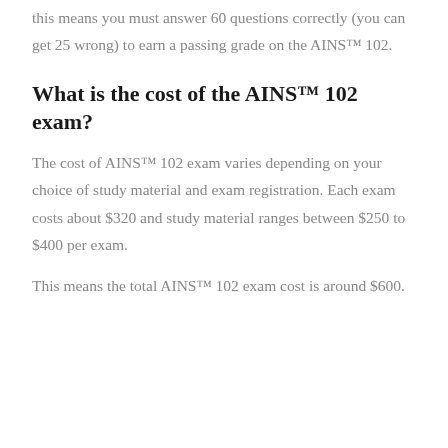this means you must answer 60 questions correctly (you can get 25 wrong) to earn a passing grade on the AINS™ 102.
What is the cost of the AINS™ 102 exam?
The cost of AINS™ 102 exam varies depending on your choice of study material and exam registration. Each exam costs about $320 and study material ranges between $250 to $400 per exam.
This means the total AINS™ 102 exam cost is around $600.